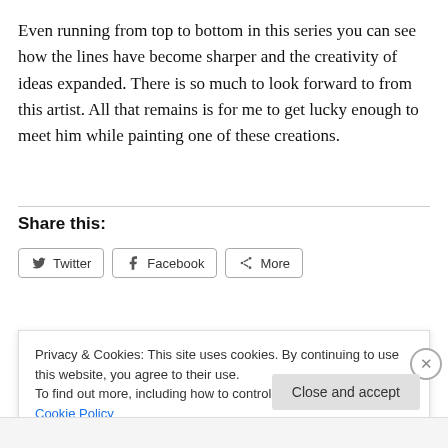Even running from top to bottom in this series you can see how the lines have become sharper and the creativity of ideas expanded. There is so much to look forward to from this artist. All that remains is for me to get lucky enough to meet him while painting one of these creations.
Share this:
Twitter  Facebook  More
Privacy & Cookies: This site uses cookies. By continuing to use this website, you agree to their use.
To find out more, including how to control cookies, see here: Cookie Policy
Close and accept